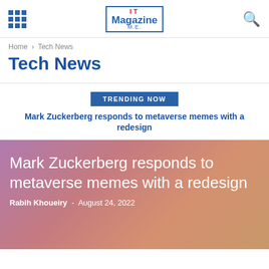IT Magazine M.E.
Home › Tech News
Tech News
TRENDING NOW
Mark Zuckerberg responds to metaverse memes with a redesign
Mark Zuckerberg responds to metaverse memes with a redesign
Rabih Khoueiry  -  August 24, 2022